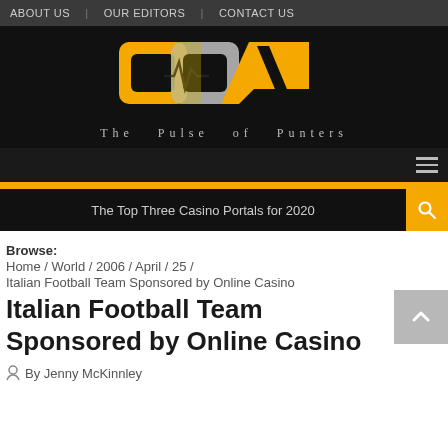ABOUT US  |  OUR EDITORS  |  CONTACT US
[Figure (logo): OCA logo with yellow O, grey and yellow overlapping A shapes, heartbeat line, and tagline 'The Pulse of Punters' on black background]
The Top Three Casino Portals for 2020
Browse: Home / World / 2006 / April / 25 / Italian Football Team Sponsored by Online Casino
Italian Football Team Sponsored by Online Casino
By Jenny McKinnley